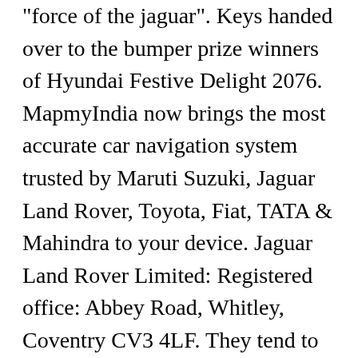"force of the jaguar". Keys handed over to the bumper prize winners of Hyundai Festive Delight 2076. MapmyIndia now brings the most accurate car navigation system trusted by Maruti Suzuki, Jaguar Land Rover, Toyota, Fiat, TATA & Mahindra to your device. Jaguar Land Rover Limited: Registered office: Abbey Road, Whitley, Coventry CV3 4LF. They tend to be loners and are very comfortable with themselves. Supercomputer, any of a class of extremely powerful computers. English to Russian We hope this will help you in â ¦ Competitive Environment: Definition. A tribe of Nepal hunt a wild honey with natural psychoactive properties ("mad honey"), they use it as a medicine and a soft drug. The jaguar